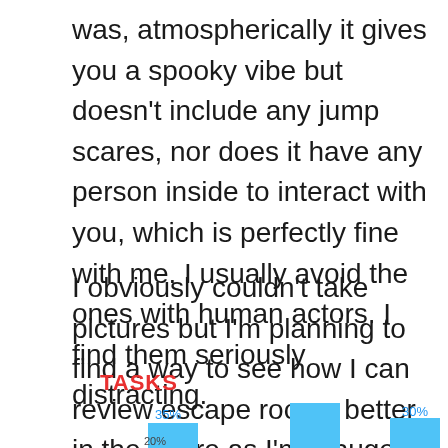was, atmospherically it gives you a spooky vibe but doesn't include any jump scares, nor does it have any person inside to interact with you, which is perfectly fine with me. I usually avoid the ones with human actors. I find them seriously distracting.
I obviously couldn't take pictures but I'm planning to find a way to see how I can review escape rooms better in the future as I'm a huge fan and would like to collect my memories of them in an archive.
TASKS
[Figure (bar-chart): Partially visible bar chart at the bottom of the page showing percentage values including 35%, 30%, and partial labels]